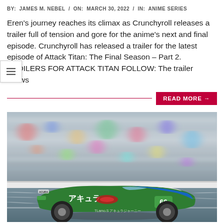BY: JAMES M. NEBEL / ON: MARCH 30, 2022 / IN: ANIME SERIES
Eren's journey reaches its climax as Crunchyroll releases a trailer full of tension and gore for the anime's next and final episode. Crunchyroll has released a trailer for the latest episode of Attack Titan: The Final Season – Part 2. SPOILERS FOR ATTACK TITAN FOLLOW: The trailer shows
READ MORE →
[Figure (photo): Racing car number 66 with Japanese text (アキュラ) and Acura branding in green, white, blue livery, speeding on a race track with blurred crowd in background. The car has Attack on Titan anime artwork.]